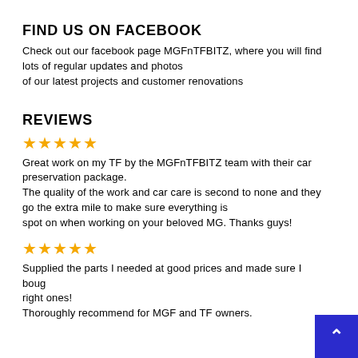FIND US ON FACEBOOK
Check out our facebook page MGFnTFBITZ, where you will find lots of regular updates and photos of our latest projects and customer renovations
REVIEWS
★★★★★
Great work on my TF by the MGFnTFBITZ team with their car preservation package.
The quality of the work and car care is second to none and they go the extra mile to make sure everything is spot on when working on your beloved MG. Thanks guys!
★★★★★
Supplied the parts I needed at good prices and made sure I bought the right ones!
Thoroughly recommend for MGF and TF owners.